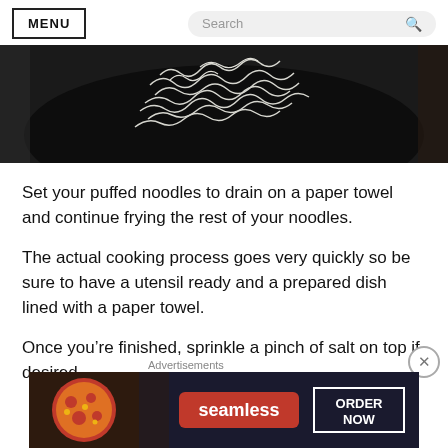MENU | Search
[Figure (photo): Overhead view of puffed white noodles on a dark black plate/bowl]
Set your puffed noodles to drain on a paper towel and continue frying the rest of your noodles.
The actual cooking process goes very quickly so be sure to have a utensil ready and a prepared dish lined with a paper towel.
Once you’re finished, sprinkle a pinch of salt on top if desired.
[Figure (screenshot): Seamless food delivery advertisement banner showing pizza image on left, seamless red logo in center, and ORDER NOW button on right]